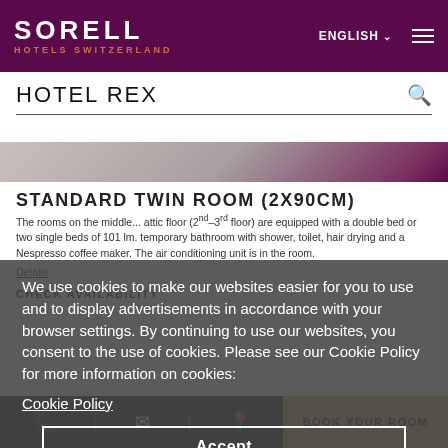SORELL HOTELS SWITZERLAND | ENGLISH | Menu
HOTEL REX
[Figure (photo): Hotel room image strip showing a standard twin room]
STANDARD TWIN ROOM (2X90CM)
The rooms on the middle... are equipped with... temporary bathroom... and a Nespresso... unit is in the...
Details
CHECK AVAILABILITY
We use cookies to make our websites easier for you to use and to display advertisements in accordance with your browser settings. By continuing to use our websites, you consent to the use of cookies. Please see our Cookie Policy for more information on cookies:
Cookie Policy
Accept
BOOK YOUR ROOM